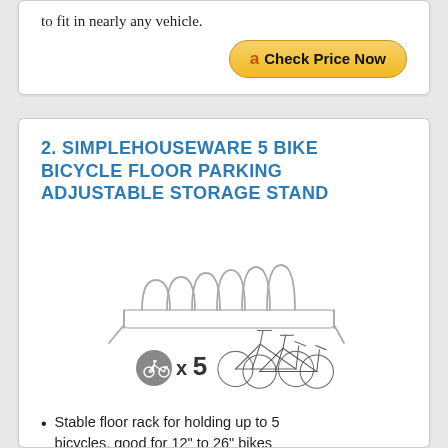to fit in nearly any vehicle.
[Figure (other): Amazon 'Check Price Now' button with Amazon logo]
2. SIMPLEHOUSEWARE 5 BIKE BICYCLE FLOOR PARKING ADJUSTABLE STORAGE STAND
[Figure (illustration): Product image of a 5-bike floor parking stand with two bicycles and a bicycle x5 icon]
Stable floor rack for holding up to 5 bicycles, good for 12" to 26" bikes